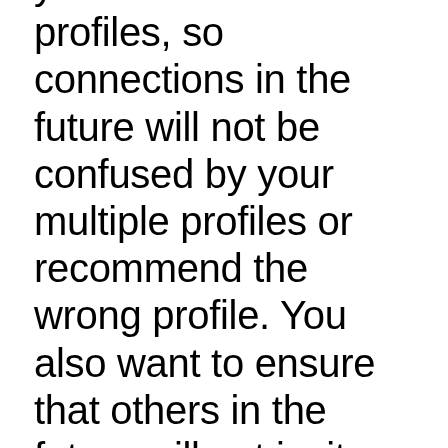you delete one of the profiles, so connections in the future will not be confused by your multiple profiles or recommend the wrong profile. You also want to ensure that others in the future will not invite you to LinkedIn via a different email address. To make sure everything goes smoothly, link your other email account to your LinkedIn account. Connecting more than one email to your account is easy, and will save